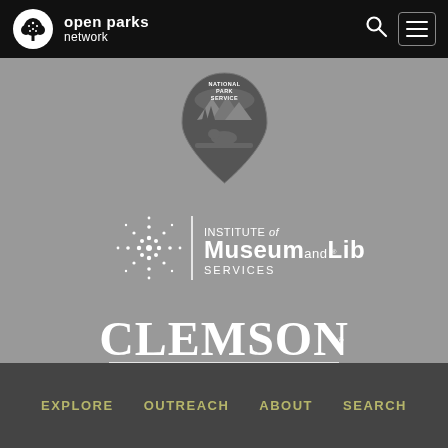[Figure (logo): Open Parks Network header logo with tree icon and white text 'open parks network']
[Figure (logo): National Park Service arrowhead logo in grayscale]
[Figure (logo): Institute of Museum and Library Services logo in white on gray]
[Figure (logo): Clemson University logo in white on gray]
EXPLORE   OUTREACH   ABOUT   SEARCH